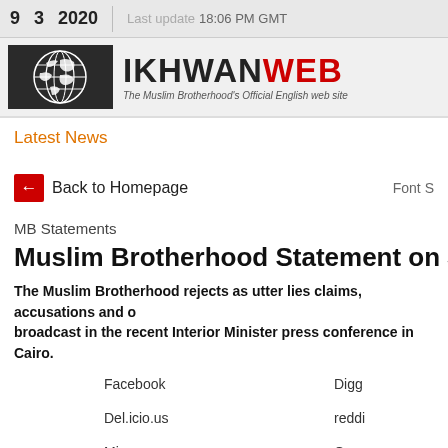9  3  2020  Last update  18:06 PM GMT
[Figure (logo): IkhwanWeb logo with globe graphic and tagline: The Muslim Brotherhood's Official English web site]
Latest News
Back to Homepage   Font S
MB Statements
Muslim Brotherhood Statement on Junta Interior Ministe
The Muslim Brotherhood rejects as utter lies claims, accusations and o broadcast in the recent Interior Minister press conference in Cairo.
Facebook   Digg
Del.icio.us   reddi
Mixx   Goog